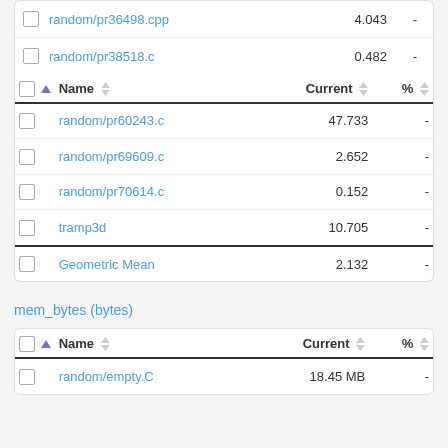|  | Name | Current | % |
| --- | --- | --- | --- |
|  | random/pr36498.cpp | 4.043 | - |
|  | random/pr38518.c | 0.482 | - |
|  | Name | Current | % |
| --- | --- | --- | --- |
|  | random/pr60243.c | 47.733 | - |
|  | random/pr69609.c | 2.652 | - |
|  | random/pr70614.c | 0.152 | - |
|  | tramp3d | 10.705 | - |
|  | Geometric Mean | 2.132 | - |
mem_bytes (bytes)
|  | Name | Current | % |
| --- | --- | --- | --- |
|  | random/empty.C | 18.45 MB | - |